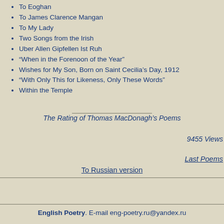To Eoghan
To James Clarence Mangan
To My Lady
Two Songs from the Irish
Uber Allen Gipfellen Ist Ruh
“When in the Forenoon of the Year”
Wishes for My Son, Born on Saint Cecilia’s Day, 1912
“With Only This for Likeness, Only These Words”
Within the Temple
The Rating of Thomas MacDonagh’s Poems
9455 Views
Last Poems
To Russian version
English Poetry. E-mail eng-poetry.ru@yandex.ru